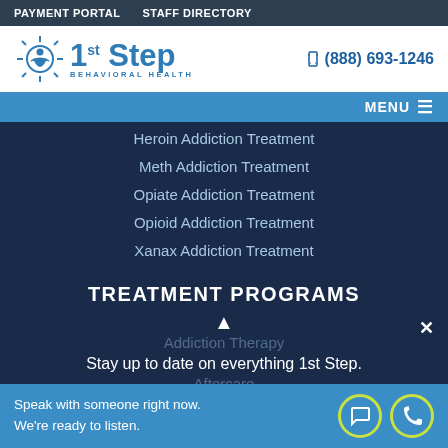PAYMENT PORTAL   STAFF DIRECTORY
[Figure (logo): 1st Step Behavioral Health logo with sun/person icon and phone number (888) 693-1246]
MENU
Heroin Addiction Treatment
Meth Addiction Treatment
Opiate Addiction Treatment
Opioid Addiction Treatment
Xanax Addiction Treatment
TREATMENT PROGRAMS
Addiction Therapy
Stay up to date on everything 1st Step.
Aftercare
Speak with someone right now. We're ready to listen.